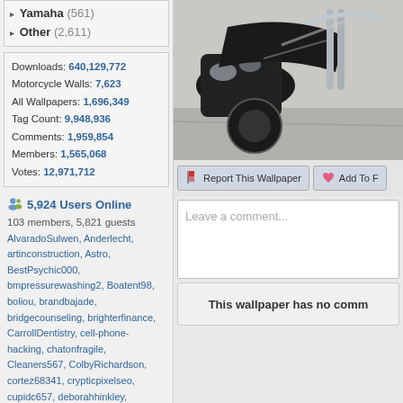▸ Yamaha (561)
▸ Other (2,611)
Downloads: 640,129,772
Motorcycle Walls: 7,623
All Wallpapers: 1,696,349
Tag Count: 9,948,936
Comments: 1,959,854
Members: 1,565,068
Votes: 12,971,712
5,924 Users Online
103 members, 5,821 guests
AlvaradoSulwen, Anderlecht, artinconstruction, Astro, BestPsychic000, bmpressurewashing2, Boatent98, boliou, brandbajade, bridgecounseling, brighterfinance, CarrollDentistry, cell-phone-hacking, chatonfragile, Cleaners567, ColbyRichardson, cortez68341, crypticpixelseo, cupidc657, deborahhinkley, doyleplumbinggroup, driverjoe, duanvinhomescom, dubmovie, enailvietnam, erahobb, Francisco47, GeorgePaterson, Gibsonfan, gotrup, guybishop3, hevenpainrelief, Iamgroottt616, ianbose22, ikcinbots, infognana, Installationvinyl11, jasonguck, JokersStash, josephfirarae, jun8888, KayaXu8, khunganhomkinhvietnhon,
[Figure (photo): Motorcycle photo showing chrome details and engine from above angle]
Report This Wallpaper
Add To F
Leave a comment...
This wallpaper has no comm